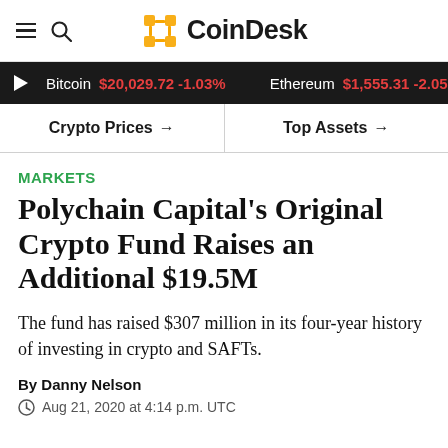CoinDesk
Bitcoin $20,029.72 -1.03% Ethereum $1,555.31 -2.05
Crypto Prices → Top Assets →
Markets
Polychain Capital's Original Crypto Fund Raises an Additional $19.5M
The fund has raised $307 million in its four-year history of investing in crypto and SAFTs.
By Danny Nelson
Aug 21, 2020 at 4:14 p.m. UTC